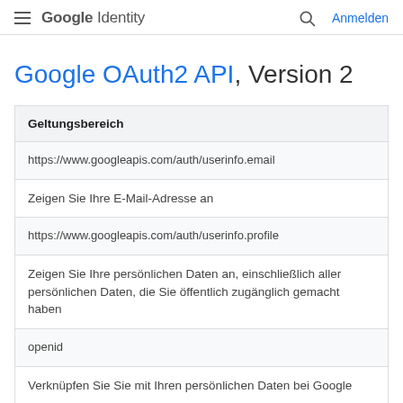Google Identity — Anmelden
Google OAuth2 API, Version 2
| Geltungsbereich |
| --- |
| https://www.googleapis.com/auth/userinfo.email |
| Zeigen Sie Ihre E-Mail-Adresse an |
| https://www.googleapis.com/auth/userinfo.profile |
| Zeigen Sie Ihre persönlichen Daten an, einschließlich aller persönlichen Daten, die Sie öffentlich zugänglich gemacht haben |
| openid |
| Verknüpfen Sie Sie mit Ihren persönlichen Daten bei Google |